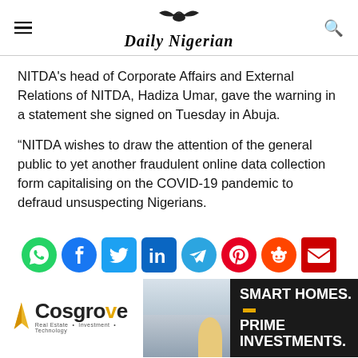Daily Nigerian
NITDA's head of Corporate Affairs and External Relations of NITDA, Hadiza Umar, gave the warning in a statement she signed on Tuesday in Abuja.
“NITDA wishes to draw the attention of the general public to yet another fraudulent online data collection form capitalising on the COVID-19 pandemic to defraud unsuspecting Nigerians.
[Figure (infographic): Social media sharing icons row: WhatsApp (green), Facebook (blue), Twitter (blue bird), LinkedIn (blue), Telegram (blue), Pinterest (red), Reddit (orange-red), Email (red envelope)]
[Figure (infographic): Advertisement banner for Cosgrove Real Estate with text SMART HOMES. PRIME INVESTMENTS. showing a building photo in center.]